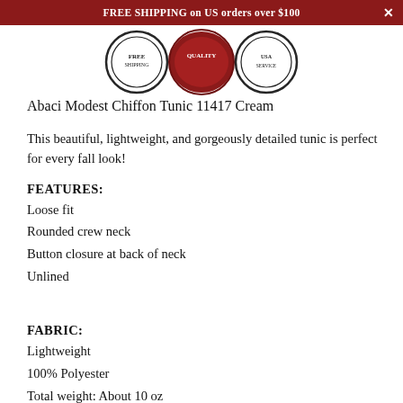FREE SHIPPING on US orders over $100
[Figure (illustration): Three circular badge icons showing shipping and quality seals]
Abaci Modest Chiffon Tunic 11417 Cream
This beautiful, lightweight, and gorgeously detailed tunic is perfect for every fall look!
FEATURES:
Loose fit
Rounded crew neck
Button closure at back of neck
Unlined
FABRIC:
Lightweight
100% Polyester
Total weight: About 10 oz
Length: Comes to mid/lower thigh on most